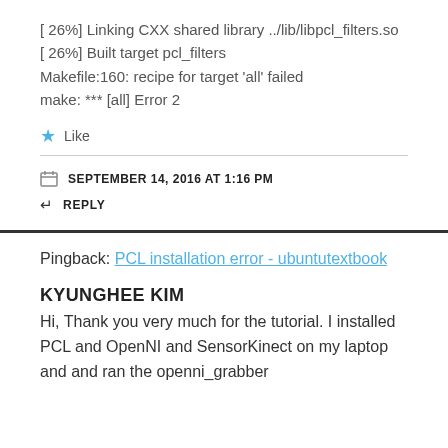[ 26%] Linking CXX shared library ../lib/libpcl_filters.so
[ 26%] Built target pcl_filters
Makefile:160: recipe for target 'all' failed
make: *** [all] Error 2
Like
SEPTEMBER 14, 2016 AT 1:16 PM
REPLY
Pingback: PCL installation error - ubuntutextbook
KYUNGHEE KIM
Hi, Thank you very much for the tutorial. I installed PCL and OpenNI and SensorKinect on my laptop and and ran the openni_grabber